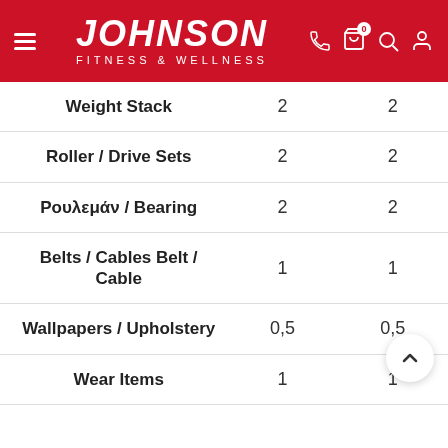JOHNSON FITNESS & WELLNESS
| Item | Col1 | Col2 |
| --- | --- | --- |
| Weight Stack | 2 | 2 |
| Roller / Drive Sets | 2 | 2 |
| Ρουλεμάν / Bearing | 2 | 2 |
| Belts / Cables Belt / Cable | 1 | 1 |
| Wallpapers / Upholstery | 0,5 | 0,5 |
| Wear Items | 1 | 1 |